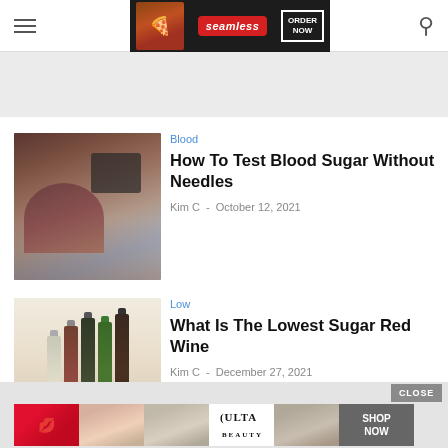[Figure (screenshot): Seamless food delivery advertisement banner with pizza image, Seamless logo in red, and ORDER NOW button]
[Figure (photo): Woman testing blood sugar with a glucometer on her arm]
Blood
How To Test Blood Sugar Without Needles
Kim C · October 12, 2021
[Figure (photo): Several wine bottles arranged together including white and red wines]
Low
What Is The Lowest Sugar Red Wine
Kim C · December 27, 2021
[Figure (screenshot): ULTA Beauty advertisement banner with makeup imagery and SHOP NOW button]
CLOSE